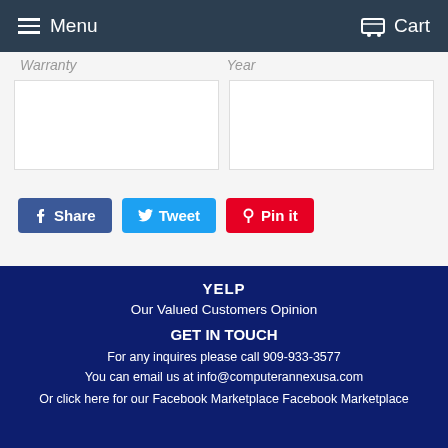Menu   Cart
Warranty   Year
[Figure (other): Two white input/content boxes side by side]
Share
Tweet
Pin it
YELP
Our Valued Customers Opinion
GET IN TOUCH
For any inquires please call 909-933-3577
You can email us at info@computerannexusa.com
Or click here for our Facebook Marketplace Facebook Marketplace